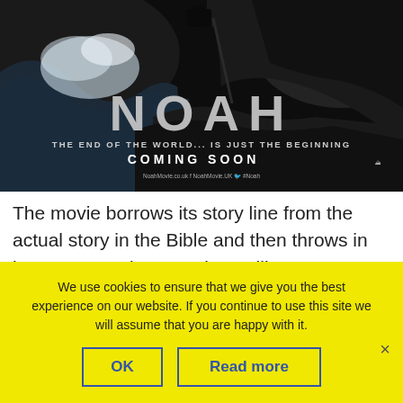[Figure (photo): Noah movie poster showing a dark dramatic scene with a figure standing on rocks against stormy waves. Large title text 'NOAH', tagline 'THE END OF THE WORLD... IS JUST THE BEGINNING', and 'COMING SOON' text. Paramount Pictures logo visible. Social media links at bottom.]
The movie borrows its story line from the actual story in the Bible and then throws in its own “masala” to end up telling a
We use cookies to ensure that we give you the best experience on our website. If you continue to use this site we will assume that you are happy with it.